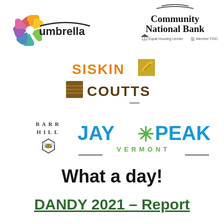[Figure (logo): Umbrella logo — colorful pinwheel/kite shapes forming a flower with the word 'umbrella' beside it]
[Figure (logo): Community National Bank logo with text 'Community National Bank', 'Equal Housing Lender' house icon, 'Member FDIC', and curved line above]
[Figure (logo): Siskin Coutts logo — orange SISKIN text with decorative gold/brown square icons and brown COUTTS text below]
[Figure (logo): Barr Hill logo — small hexagon bee icon with stacked bold spaced text BARR HILL]
[Figure (logo): Jay Peak Vermont logo — blue bold JAY PEAK text with green snowflake asterisk, green VERMONT text below, horizontal lines on sides]
What a day!
DANDY 2021 – Report